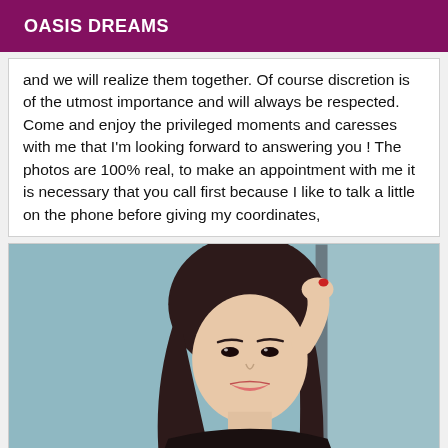OASIS DREAMS
and we will realize them together. Of course discretion is of the utmost importance and will always be respected. Come and enjoy the privileged moments and caresses with me that I'm looking forward to answering you ! The photos are 100% real, to make an appointment with me it is necessary that you call first because I like to talk a little on the phone before giving my coordinates,
[Figure (photo): Portrait photo of a young Asian woman with long dark hair, wearing a dark lace outfit, leaning against a wall or pole, looking at the camera. Background is a muted blue-grey.]